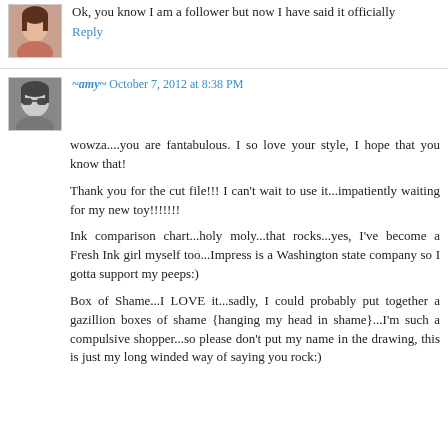Ok, you know I am a follower but now I have said it officially
Reply
~amy~ October 7, 2012 at 8:38 PM
wowza....you are fantabulous. I so love your style, I hope that you know that!
Thank you for the cut file!!! I can't wait to use it...impatiently waiting for my new toy!!!!!!!
Ink comparison chart...holy moly...that rocks...yes, I've become a Fresh Ink girl myself too...Impress is a Washington state company so I gotta support my peeps:)
Box of Shame...I LOVE it...sadly, I could probably put together a gazillion boxes of shame {hanging my head in shame}...I'm such a compulsive shopper...so please don't put my name in the drawing, this is just my long winded way of saying you rock:)